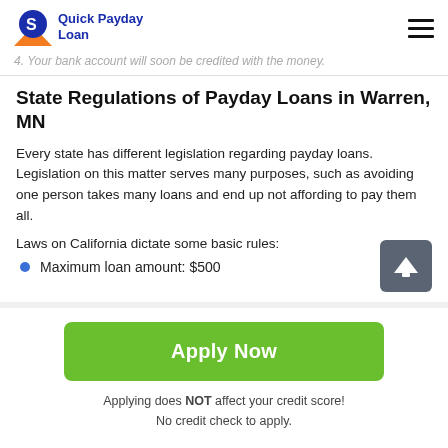Quick Payday Loan
4. Your bank account will soon be credited with the money.
State Regulations of Payday Loans in Warren, MN
Every state has different legislation regarding payday loans. Legislation on this matter serves many purposes, such as avoiding one person takes many loans and end up not affording to pay them all.
Laws on California dictate some basic rules:
Maximum loan amount: $500
Apply Now
Applying does NOT affect your credit score!
No credit check to apply.